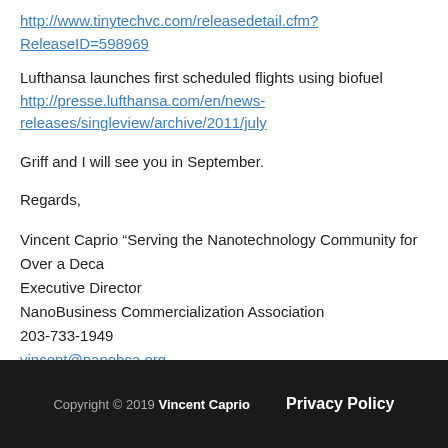http://www.tinytechvc.com/releasedetail.cfm?ReleaseID=598969
Lufthansa launches first scheduled flights using biofuel
http://presse.lufthansa.com/en/news-releases/singleview/archive/2011/july...
Griff and I will see you in September.
Regards,
Vincent Caprio “Serving the Nanotechnology Community for Over a Decade”
Executive Director
NanoBusiness Commercialization Association
203-733-1949
vincent@nanobca.org
www.nanobca.org
Copyright © 2019 Vincent Caprio    Privacy Policy